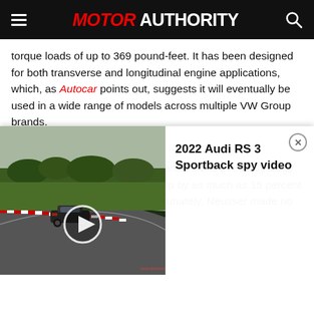MOTOR AUTHORITY
torque loads of up to 369 pound-feet. It has been designed for both transverse and longitudinal engine applications, which, as Autocar points out, suggests it will eventually be used in a wide range of models across multiple VW Group brands.
The transmission is said to be part of VW’s overall strategy to boost the efficiency of its lineup by as much as 15 percent by the end of the decade. Unfortunately, Neusser made no mention of when the new
[Figure (screenshot): Video player thumbnail showing a car on a race track (Nürburgring) alongside a panel with the title '2022 Audi RS 3 Sportback spy video' and a close button.]